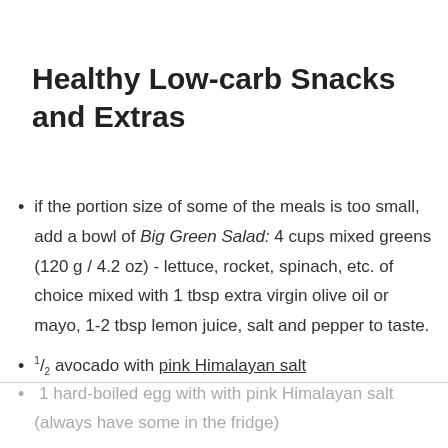Healthy Low-carb Snacks and Extras
if the portion size of some of the meals is too small, add a bowl of Big Green Salad: 4 cups mixed greens (120 g / 4.2 oz) - lettuce, rocket, spinach, etc. of choice mixed with 1 tbsp extra virgin olive oil or mayo, 1-2 tbsp lemon juice, salt and pepper to taste.
1/2 avocado with pink Himalayan salt
1 hard-boiled egg with with pink Himalayan salt (always have some in the fridge)